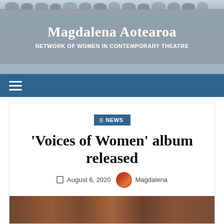Magdalena Aotearoa — NETWORK OF WOMEN IN CONTEMPORARY THEATRE
[Figure (screenshot): Website screenshot of Magdalena Aotearoa — a network of women in contemporary theatre. Shows a site header with blurred group photo background, blue navigation bar with hamburger menu, a NEWS category tag, article title 'Voices of Women' album released, dated August 6, 2020 by Magdalena, and a preview image at the bottom.]
'Voices of Women' album released
August 6, 2020   Magdalena